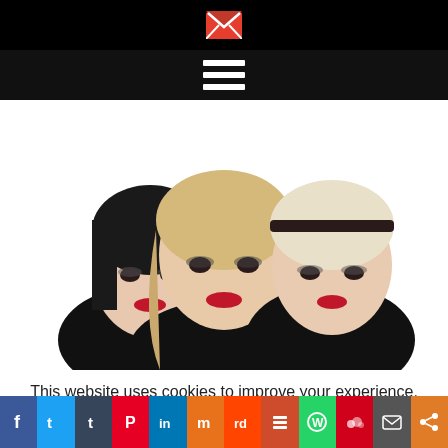[Figure (photo): Three women with dramatic makeup and black turtlenecks posing together against a white background]
This website uses cookies to improve your experience. We'll assume you're ok with this, but you can opt-out if you wish.
[Figure (infographic): Social sharing bar with icons: Facebook, Twitter, Tumblr, Pinterest, LinkedIn, Mix, Reddit, Buffer, WhatsApp, MySpace/Myspace, Email, Share]